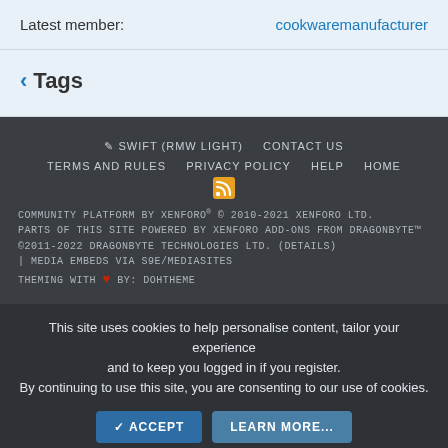Latest member: cookwaremanufacturer
< Tags
✏ SWIFT (RMW LIGHT)   CONTACT US   TERMS AND RULES   PRIVACY POLICY   HELP   HOME   [RSS icon]   COMMUNITY PLATFORM BY XENFORO® © 2010-2021 XENFORO LTD.   PARTS OF THIS SITE POWERED BY XENFORO ADD-ONS FROM DRAGONBYTE™ ©2011-2022 DRAGONBYTE TECHNOLOGIES LTD. (DETAILS)   | MEDIA EMBEDS VIA S9E/MEDIASITES   THEMING WITH ❤ BY: DOHTHEME
This site uses cookies to help personalise content, tailor your experience and to keep you logged in if you register. By continuing to use this site, you are consenting to our use of cookies.
ACCEPT   LEARN MORE...